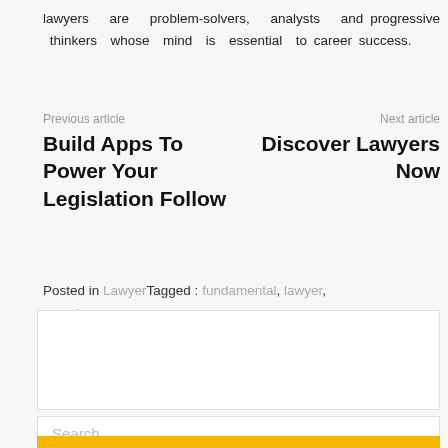lawyers are problem-solvers, analysts and progressive thinkers whose mind is essential to career success.
Previous article
Build Apps To Power Your Legislation Follow
Next article
Discover Lawyers Now
Posted in LawyerTagged : fundamental, lawyer, search